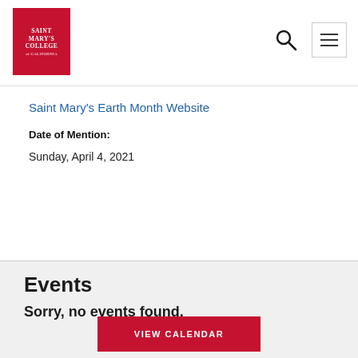[Figure (logo): Saint Mary's College of California logo — red box with white serif text]
Saint Mary's Earth Month Website
Date of Mention:
Sunday, April 4, 2021
Events
Sorry, no events found.
VIEW CALENDAR